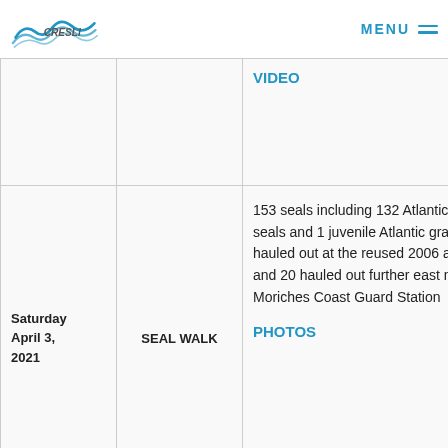CRESLI — MENU
| Date | Event | Description |
| --- | --- | --- |
|  |  | VIDEO |
| Saturday April 3, 2021 | SEAL WALK | 153 seals including 132 Atlantic harbor seals and 1 juvenile Atlantic gray seal hauled out at the reused 2006 area, and 20 hauled out further east near the Moriches Coast Guard Station

PHOTOS |